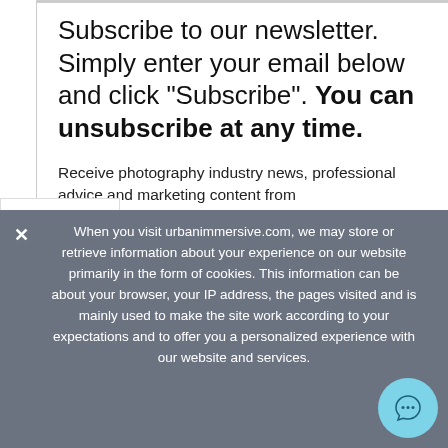Subscribe to our newsletter. Simply enter your email below and click "Subscribe". You can unsubscribe at any time.
Receive photography industry news, professional advice and marketing content from URBANIMMERSIVE
[Figure (other): Social sharing sidebar with Twitter (Tweet) and Facebook (Share) buttons]
When you visit urbanimmersive.com, we may store or retrieve information about your experience on our website primarily in the form of cookies. This information can be about your browser, your IP address, the pages visited and is mainly used to make the site work according to your expectations and to offer you a personalized experience with our website and services.